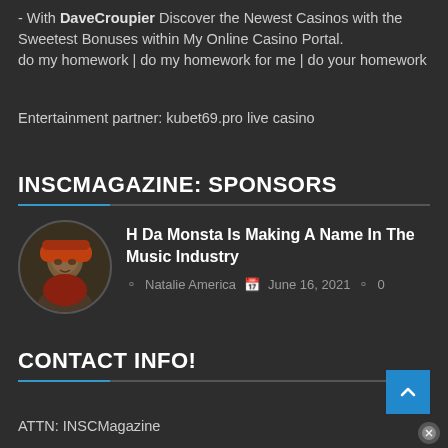- With DaveCroupier Discover the Newest Casinos with the Sweetest Bonuses within My Online Casino Portal.
do my homework | do my homework for me | do your homework
Entertainment partner: kubet69.pro live casino
INSCMAGAZINE: SPONSORS
[Figure (photo): Circular avatar photo of H Da Monsta, a young man wearing a hat, outdoors]
H Da Monsta Is Making A Name In The Music Industry
Natalie America  June 16, 2021  0
CONTACT INFO!
ATTN: INSCMagazine